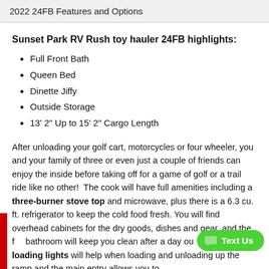2022 24FB Features and Options
Sunset Park RV Rush toy hauler 24FB highlights:
Full Front Bath
Queen Bed
Dinette Jiffy
Outside Storage
13' 2" Up to 15' 2" Cargo Length
After unloading your golf cart, motorcycles or four wheeler, you and your family of three or even just a couple of friends can enjoy the inside before taking off for a game of golf or a trail ride like no other!  The cook will have full amenities including a three-burner stove top and microwave, plus there is a 6.3 cu. ft. refrigerator to keep the cold food fresh. You will find overhead cabinets for the dry goods, dishes and gear, and the f bathroom will keep you clean after a day ou double cargo loading lights will help when loading and unloading up the ramp and the main entry allows you to